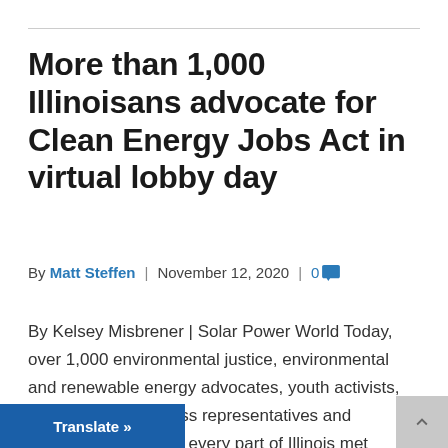More than 1,000 Illinoisans advocate for Clean Energy Jobs Act in virtual lobby day
By Matt Steffen | November 12, 2020 | 0
By Kelsey Misbrener | Solar Power World Today, over 1,000 environmental justice, environmental and renewable energy advocates, youth activists, faith leaders, business representatives and [people] from every part of Illinois met